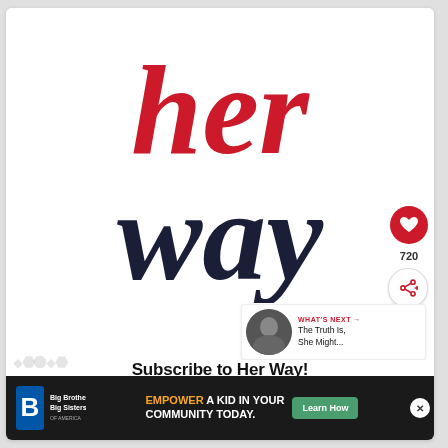[Figure (logo): Her Way logo — 'her' in bold red serif font on top line, 'way' in bold dark navy serif font on second line]
[Figure (other): Heart/like button (red circle with white heart icon) showing 720 likes, and a share button (white circle with share icon)]
[Figure (other): What's Next panel with thumbnail photo and text 'WHAT'S NEXT → The Truth Is, She Might...']
Subscribe to Her Way!
[Figure (other): Advertisement banner: Big Brothers Big Sisters logo on left, text 'EMPOWER A KID IN YOUR COMMUNITY TODAY.' with 'Learn How' button, and close X button]